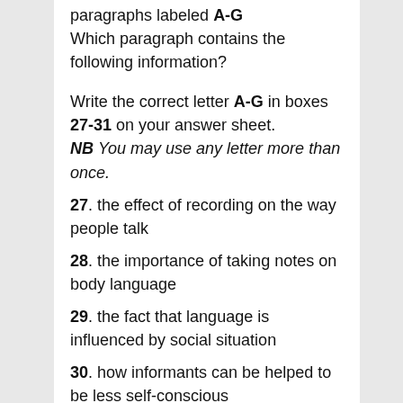paragraphs labeled A-G
Which paragraph contains the following information?
Write the correct letter A-G in boxes 27-31 on your answer sheet.
NB You may use any letter more than once.
27. the effect of recording on the way people talk
28. the importance of taking notes on body language
29. the fact that language is influenced by social situation
30. how informants can be helped to be less self-conscious
31. various methods that can be used